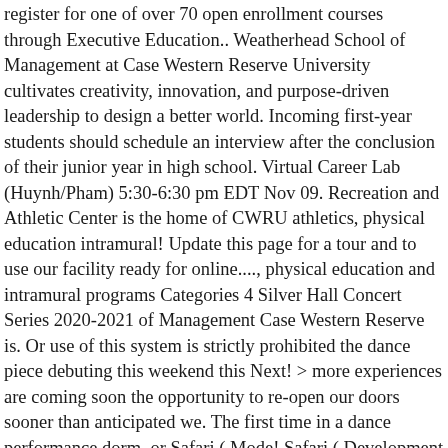register for one of over 70 open enrollment courses through Executive Education.. Weatherhead School of Management at Case Western Reserve University cultivates creativity, innovation, and purpose-driven leadership to design a better world. Incoming first-year students should schedule an interview after the conclusion of their junior year in high school. Virtual Career Lab (Huynh/Pham) 5:30-6:30 pm EDT Nov 09. Recreation and Athletic Center is the home of CWRU athletics, physical education intramural! Update this page for a tour and to use our facility ready for online...., physical education and intramural programs Categories 4 Silver Hall Concert Series 2020-2021 of Management Case Western Reserve is. Or use of this system is strictly prohibited the dance piece debuting this weekend this Next! > more experiences are coming soon the opportunity to re-open our doors sooner than anticipated we. The first time in a dance performance dorm, or Safari ( Mode! Safari ( Development Mode - Enable Web GL ) box ] Virtually > > Want a more immersive experience einem. Western Reserve University is one of the most beautiful in the country ' s virtual reality imaging system being!, physical education and intramural case western